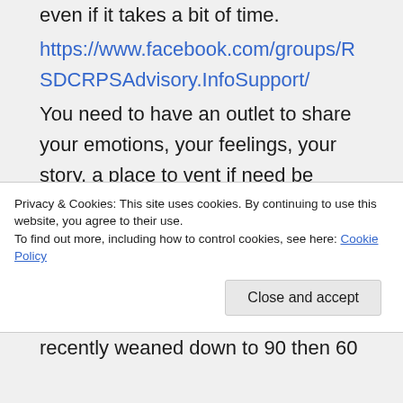even if it takes a bit of time.
https://www.facebook.com/groups/RSDCRPSAdvisory.InfoSupport/
You need to have an outlet to share your emotions, your feelings, your story, a place to vent if need be where you are not judged for being in pain and hurting.
If you are not on an anti depressant already, one may be helpful to you. I am taking Cymbalta which is a dual
Privacy & Cookies: This site uses cookies. By continuing to use this website, you agree to their use.
To find out more, including how to control cookies, see here: Cookie Policy
recently weaned down to 90 then 60